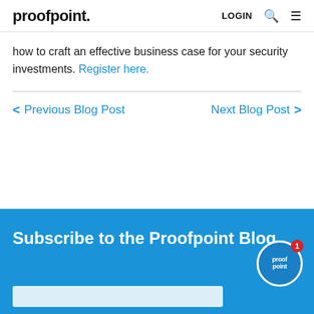proofpoint. LOGIN
how to craft an effective business case for your security investments. Register here.
< Previous Blog Post   Next Blog Post >
Subscribe to the Proofpoint Blog